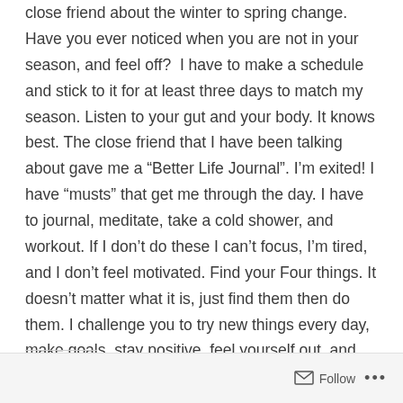close friend about the winter to spring change. Have you ever noticed when you are not in your season, and feel off?  I have to make a schedule and stick to it for at least three days to match my season. Listen to your gut and your body. It knows best. The close friend that I have been talking about gave me a “Better Life Journal”. I’m exited! I have “musts” that get me through the day. I have to journal, meditate, take a cold shower, and workout. If I don’t do these I can’t focus, I’m tired, and I don’t feel motivated. Find your Four things. It doesn’t matter what it is, just find them then do them. I challenge you to try new things every day, make goals, stay positive, feel yourself out, and follow your dreams. Sending my love.
Follow